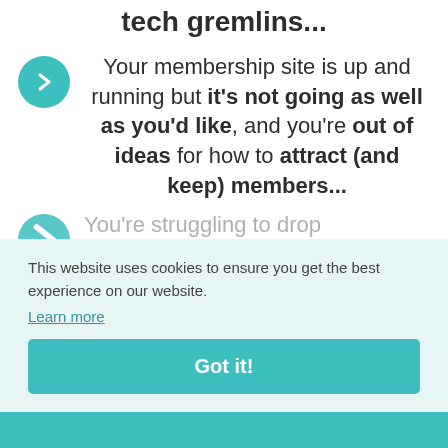tech gremlins...
Your membership site is up and running but it's not going as well as you'd like, and you're out of ideas for how to attract (and keep) members...
You're struggling to drop ... of ... and ... not enjoying...
This website uses cookies to ensure you get the best experience on our website.
Learn more
Got it!